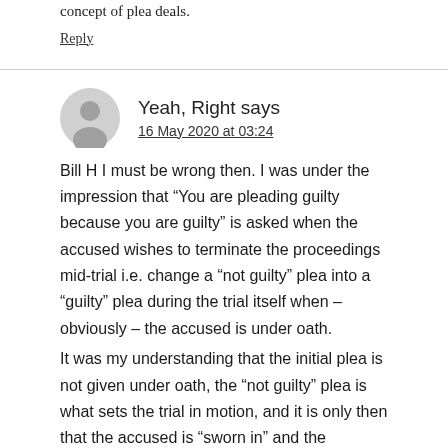concept of plea deals.
Reply
Yeah, Right says
16 May 2020 at 03:24
Bill H I must be wrong then. I was under the impression that “You are pleading guilty because you are guilty” is asked when the accused wishes to terminate the proceedings mid-trial i.e. change a “not guilty” plea into a “guilty” plea during the trial itself when – obviously – the accused is under oath.
It was my understanding that the initial plea is not given under oath, the “not guilty” plea is what sets the trial in motion, and it is only then that the accused is “sworn in” and the accused is under oath.